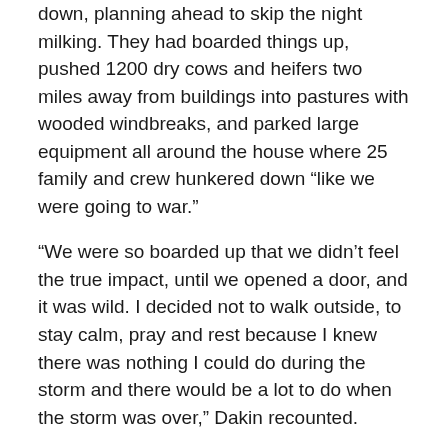down, planning ahead to skip the night milking. They had boarded things up, pushed 1200 dry cows and heifers two miles away from buildings into pastures with wooded windbreaks, and parked large equipment all around the house where 25 family and crew hunkered down “like we were going to war.”
“We were so boarded up that we didn’t feel the true impact, until we opened a door, and it was wild. I decided not to walk outside, to stay calm, pray and rest because I knew there was nothing I could do during the storm and there would be a lot to do when the storm was over,” Dakin recounted.
The storm hit with all its fury at 10 p.m. Sunday evening. By 3:00 a.m. Monday morning, the winds were still blowing, but the core, or eye wall, had passed.